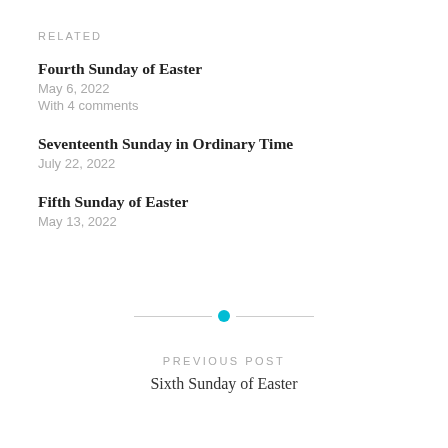RELATED
Fourth Sunday of Easter
May 6, 2022
With 4 comments
Seventeenth Sunday in Ordinary Time
July 22, 2022
Fifth Sunday of Easter
May 13, 2022
[Figure (other): Horizontal divider with a cyan circle dot in the center]
PREVIOUS POST
Sixth Sunday of Easter